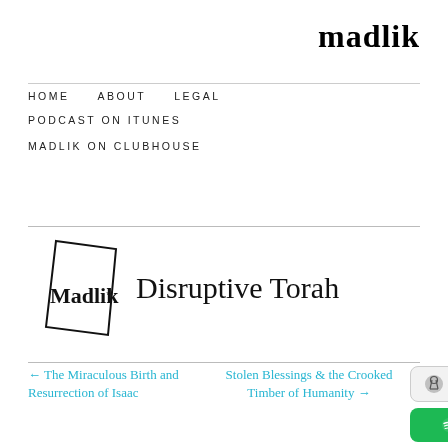madlik
HOME   ABOUT   LEGAL   PODCAST ON ITUNES   MADLIK ON CLUBHOUSE
[Figure (logo): Madlik Disruptive Torah logo with tilted rectangle outline and text]
← The Miraculous Birth and Resurrection of Isaac
Stolen Blessings & the Crooked Timber of Humanity →
[Figure (logo): Listen on Apple Podcasts badge]
[Figure (logo): Listen on Spotify badge]